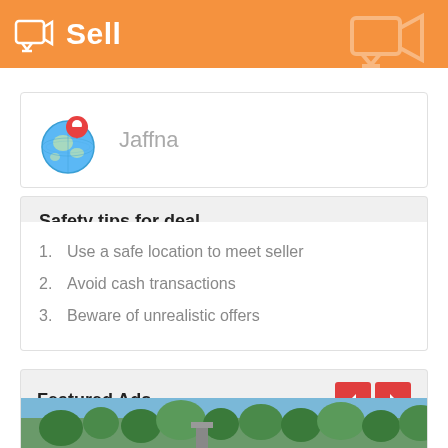Sell
[Figure (illustration): Globe with red location pin marker, showing location set to Jaffna]
Jaffna
Safety tips for deal
1. Use a safe location to meet seller
2. Avoid cash transactions
3. Beware of unrealistic offers
Featured Ads
[Figure (photo): Outdoor photo showing trees and a structure, partial view at bottom of page]